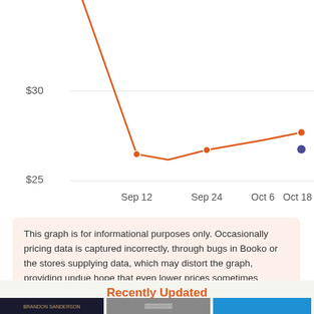[Figure (line-chart): Price history]
This graph is for informational purposes only. Occasionally pricing data is captured incorrectly, through bugs in Booko or the stores supplying data, which may distort the graph, providing undue hope that even lower prices sometimes appear.
Recently Updated
[Figure (photo): Three book thumbnails side by side: left is a dark cover (Brandon Sanderson), center is a black-and-white photo cover, right is a blue cover.]